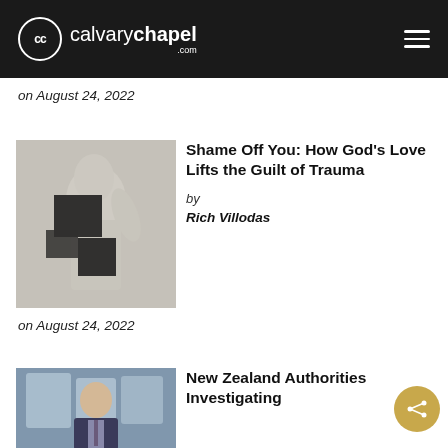calvarychapel.com
on August 24, 2022
[Figure (photo): Black and white photo of a classical marble statue with black squares obscuring parts of the figure]
Shame Off You: How God’s Love Lifts the Guilt of Trauma
by
Rich Villodas
on August 24, 2022
[Figure (photo): Photo of a man in a suit speaking at a podium or stage, with bright background]
New Zealand Authorities Investigating